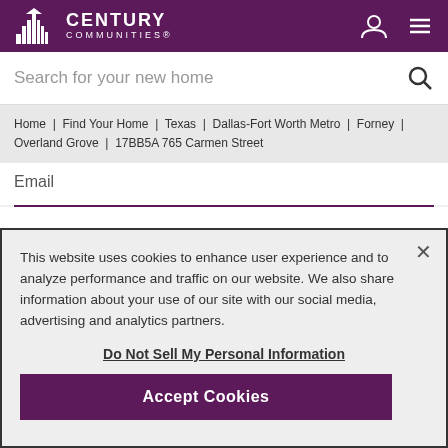[Figure (logo): Century Communities logo with building icon and white text on purple background]
Search for your new home
Home | Find Your Home | Texas | Dallas-Fort Worth Metro | Forney | Overland Grove | 17BB5A 765 Carmen Street
Email
This website uses cookies to enhance user experience and to analyze performance and traffic on our website. We also share information about your use of our site with our social media, advertising and analytics partners.
Do Not Sell My Personal Information
Accept Cookies